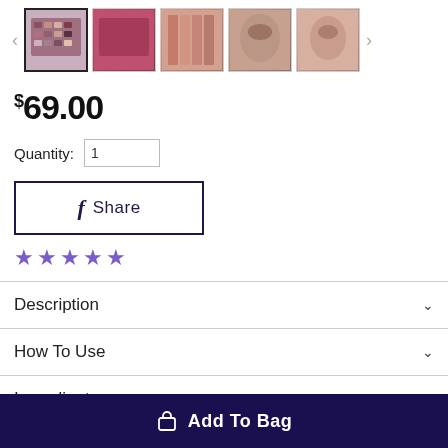[Figure (screenshot): Product image thumbnail carousel with 5 thumbnails of a makeup eyeshadow palette and model images, with left and right navigation arrows]
$69.00
Quantity: 1
[Figure (other): Facebook Share button with dark navy border, Facebook 'f' icon and text 'Share']
[Figure (other): Five purple star rating icons]
Description
How To Use
Ingredients
Add To Bag